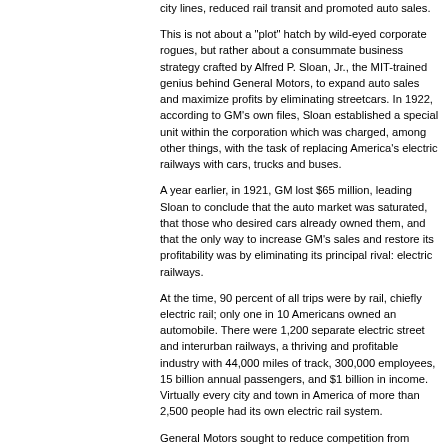city lines, reduced rail transit and promoted auto sales.
This is not about a "plot" hatch by wild-eyed corporate rogues, but rather about a consummate business strategy crafted by Alfred P. Sloan, Jr., the MIT-trained genius behind General Motors, to expand auto sales and maximize profits by eliminating streetcars. In 1922, according to GM's own files, Sloan established a special unit within the corporation which was charged, among other things, with the task of replacing America's electric railways with cars, trucks and buses.
A year earlier, in 1921, GM lost $65 million, leading Sloan to conclude that the auto market was saturated, that those who desired cars already owned them, and that the only way to increase GM's sales and restore its profitability was by eliminating its principal rival: electric railways.
At the time, 90 percent of all trips were by rail, chiefly electric rail; only one in 10 Americans owned an automobile. There were 1,200 separate electric street and interurban railways, a thriving and profitable industry with 44,000 miles of track, 300,000 employees, 15 billion annual passengers, and $1 billion in income. Virtually every city and town in America of more than 2,500 people had its own electric rail system.
General Motors sought to reduce competition from electric railways through a variety of measures, including the use of freight leverage. GM, for decades, was the nation's largest shipper of freight over railroads, which controlled some of America's most extensive railways. By wielding freight traffic as a club, GM persuaded railroads to abandon their electric rail subsidiaries.